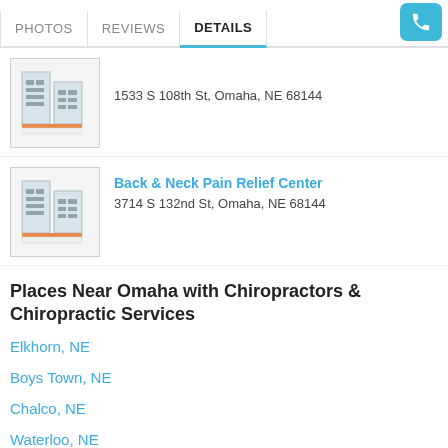PHOTOS  REVIEWS  DETAILS
1533 S 108th St, Omaha, NE 68144
Back & Neck Pain Relief Center
3714 S 132nd St, Omaha, NE 68144
Places Near Omaha with Chiropractors & Chiropractic Services
Elkhorn, NE
Boys Town, NE
Chalco, NE
Waterloo, NE
Gretna, NE
Valley, NE